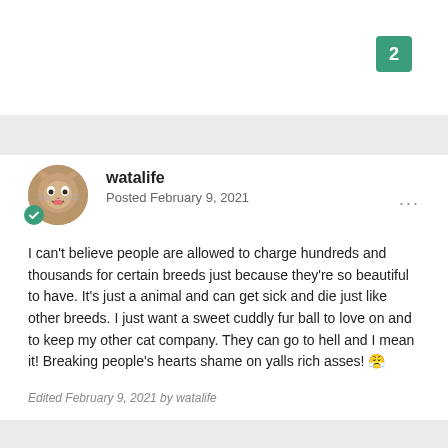2
watalife
Posted February 9, 2021
I can't believe people are allowed to charge hundreds and thousands for certain breeds just because they're so beautiful to have. It's just a animal and can get sick and die just like other breeds. I just want a sweet cuddly fur ball to love on and to keep my other cat company. They can go to hell and I mean it! Breaking people's hearts shame on yalls rich asses! 😤
Edited February 9, 2021 by watalife